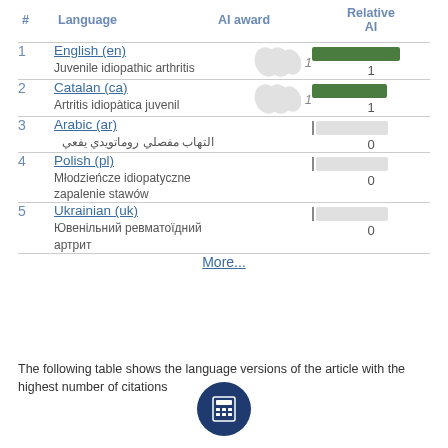| # | Language | AI award | Relative AI |
| --- | --- | --- | --- |
| 1 | English (en)
Juvenile idiopathic arthritis | 1 | 1 |
| 2 | Catalan (ca)
Artritis idiopàtica juvenil | 1 | 1 |
| 3 | Arabic (ar)
التهاب مفصلي روماتويدي يفعي |  | 0 |
| 4 | Polish (pl)
Młodzieńcze idiopatyczne zapalenie stawów |  | 0 |
| 5 | Ukrainian (uk)
Ювенільний ревматоїдний артрит |  | 0 |
More...
The following table shows the language versions of the article with the highest number of citations